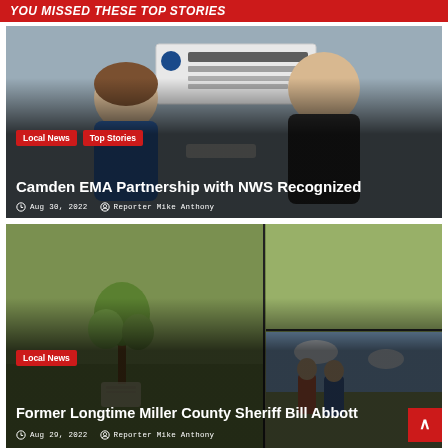You missed These Top Stories
[Figure (photo): Two people smiling in front of a 'Be Prepared!' NOAA sign, shaking hands or exchanging documents. Woman with glasses on left, man in dark polo on right.]
Local News
Top Stories
Camden EMA Partnership with NWS Recognized
Aug 30, 2022  Reporter Mike Anthony
[Figure (photo): Collage of outdoor scenes: left side shows a small tree planted in a grassy area with a grave/marker visible; upper right shows a green grassy area; lower right shows two people standing outdoors with a cloudy sky.]
Local News
Former Longtime Miller County Sheriff Bill Abbott
Aug 29, 2022  Reporter Mike Anthony